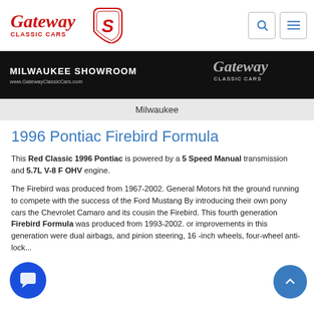Gateway Classic Cars — navigation header with logo, search and menu icons
[Figure (screenshot): Milwaukee Showroom banner with black background, Gateway Classic Cars branding and www.GatewayClassicCars.com]
Milwaukee
1996 Pontiac Firebird Formula
This Red Classic 1996 Pontiac is powered by a 5 Speed Manual transmission and 5.7L V-8 F OHV engine.
The Firebird was produced from 1967-2002. General Motors hit the ground running to compete with the success of the Ford Mustang By introducing their own pony cars the Chevrolet Camaro and its cousin the Firebird. This fourth generation Firebird Formula was produced from 1993-2002. Major improvements in this generation were dual airbags, rack and pinion steering, 16-inch wheels, four-wheel anti-lock...